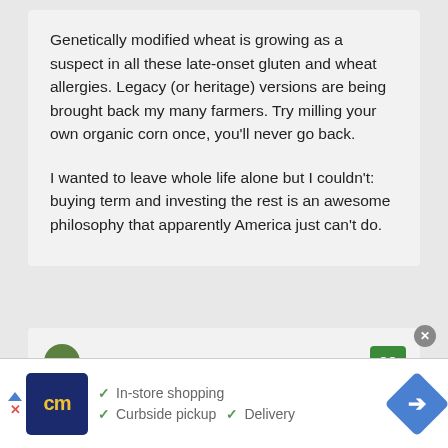Genetically modified wheat is growing as a suspect in all these late-onset gluten and wheat allergies. Legacy (or heritage) versions are being brought back my many farmers. Try milling your own organic corn once, you'll never go back.

I wanted to leave whole life alone but I couldn't: buying term and investing the rest is an awesome philosophy that apparently America just can't do.
TB at BlueCollarWorkman says
[Figure (screenshot): Advertisement banner with CM logo, checkmarks for In-store shopping, Curbside pickup, and Delivery, and a blue navigation diamond arrow icon]